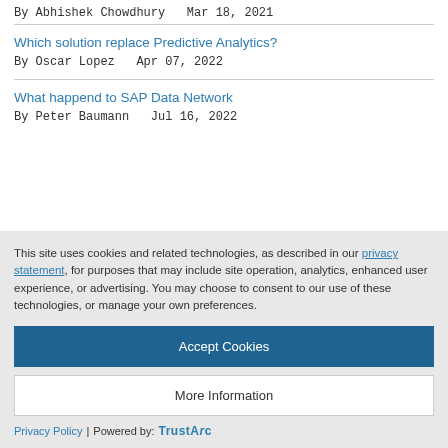By Abhishek Chowdhury  Mar 18, 2021
Which solution replace Predictive Analytics?
By Oscar Lopez  Apr 07, 2022
What happend to SAP Data Network
By Peter Baumann  Jul 16, 2022
This site uses cookies and related technologies, as described in our privacy statement, for purposes that may include site operation, analytics, enhanced user experience, or advertising. You may choose to consent to our use of these technologies, or manage your own preferences.
Accept Cookies
More Information
Privacy Policy | Powered by: TrustArc